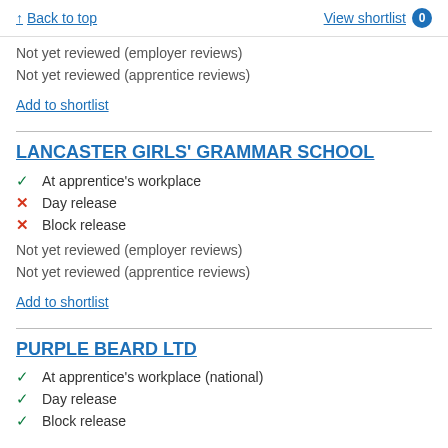↑ Back to top   View shortlist 0
Not yet reviewed (employer reviews)
Not yet reviewed (apprentice reviews)
Add to shortlist
LANCASTER GIRLS' GRAMMAR SCHOOL
✓ At apprentice's workplace
✗ Day release
✗ Block release
Not yet reviewed (employer reviews)
Not yet reviewed (apprentice reviews)
Add to shortlist
PURPLE BEARD LTD
✓ At apprentice's workplace (national)
✓ Day release
✓ Block release